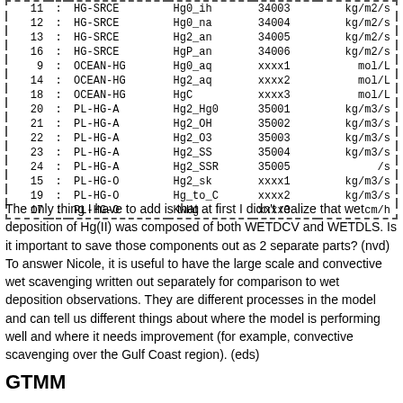| # | : | Group | Variable | Code | Unit |
| --- | --- | --- | --- | --- | --- |
| 11 | : | HG-SRCE | Hg0_ih | 34003 | kg/m2/s |
| 12 | : | HG-SRCE | Hg0_na | 34004 | kg/m2/s |
| 13 | : | HG-SRCE | Hg2_an | 34005 | kg/m2/s |
| 16 | : | HG-SRCE | HgP_an | 34006 | kg/m2/s |
| 9 | : | OCEAN-HG | Hg0_aq | xxxx1 | mol/L |
| 14 | : | OCEAN-HG | Hg2_aq | xxxx2 | mol/L |
| 18 | : | OCEAN-HG | HgC | xxxx3 | mol/L |
| 20 | : | PL-HG-A | Hg2_Hg0 | 35001 | kg/m3/s |
| 21 | : | PL-HG-A | Hg2_OH | 35002 | kg/m3/s |
| 22 | : | PL-HG-A | Hg2_O3 | 35003 | kg/m3/s |
| 23 | : | PL-HG-A | Hg2_SS | 35004 | kg/m3/s |
| 24 | : | PL-HG-A | Hg2_SSR | 35005 | /s |
| 15 | : | PL-HG-O | Hg2_sk | xxxx1 | kg/m3/s |
| 19 | : | PL-HG-O | Hg_to_C | xxxx2 | kg/m3/s |
| 17 | : | PL-HG-O | KwHg | xxxx3 | cm/h |
The only thing I have to add is that at first I didn't realize that wet deposition of Hg(II) was composed of both WETDCV and WETDLS. Is it important to save those components out as 2 separate parts? (nvd) To answer Nicole, it is useful to have the large scale and convective wet scavenging written out separately for comparison to wet deposition observations. They are different processes in the model and can tell us different things about where the model is performing well and where it needs improvement (for example, convective scavenging over the Gulf Coast region). (eds)
GTMM